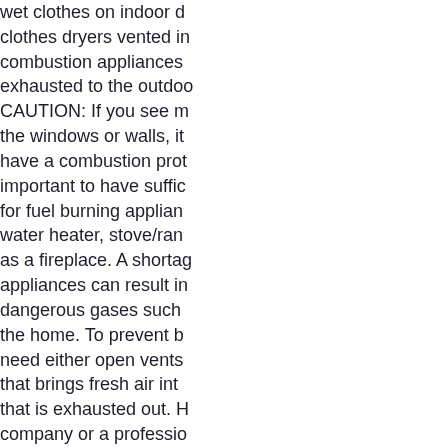wet clothes on indoor drying racks, clothes dryers vented indoors, and combustion appliances not properly exhausted to the outdoors. CAUTION: If you see moisture on the windows or walls, it is possible to have a combustion problem. It is important to have sufficient make-up air for fuel burning appliances such as a water heater, stove/range, furnace or as a fireplace. A shortage of air for these appliances can result in spillage of dangerous gases such as CO into the home. To prevent backdrafting, you need either open vents or a system that brings fresh air into the building that is exhausted out. Have your gas company or a professional HVAC inspect your fuel-burning appliances.
HEALTH EFFECTS
How am I exposed to indoor mold? Mold is found everywhere, indoors and out. It is common to find mold spores in the air and growing on damp surfaces. Most of the mold found indoors comes from outdoor sources. Therefore, everyone is exposed to some mold on a daily basis without apparent harm. Mold spores primarily cause health